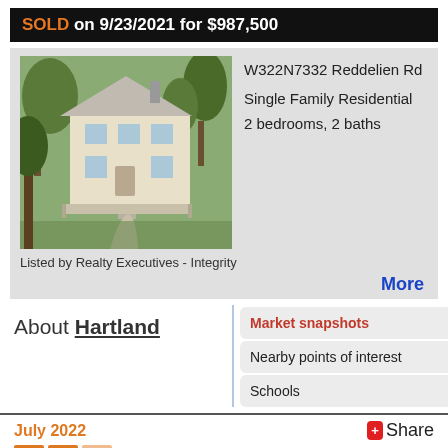SOLD on 9/23/2021 for $987,500
[Figure (photo): Exterior photo of a two-story white house with a porch, surrounded by trees and a winding path on the lawn]
W322N7332 Reddelien Rd
Single Family Residential
2 bedrooms, 2 baths
Listed by Realty Executives - Integrity
More
About Hartland
Market snapshots
Nearby points of interest
Schools
July 2022
+Share